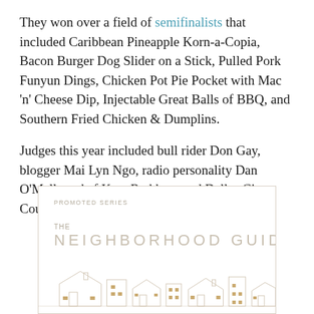They won over a field of semifinalists that included Caribbean Pineapple Korn-a-Copia, Bacon Burger Dog Slider on a Stick, Pulled Pork Funyun Dings, Chicken Pot Pie Pocket with Mac 'n' Cheese Dip, Injectable Great Balls of BBQ, and Southern Fried Chicken & Dumplins.
Judges this year included bull rider Don Gay, blogger Mai Lyn Ngo, radio personality Dan O'Malley, chef Kent Rathbun, and Dallas City Council member Tiffinni Young.
[Figure (illustration): Promoted series advertisement box for 'The Neighborhood Guide' with a minimalist illustration of houses/buildings silhouettes in light tan/gold tones at the bottom.]